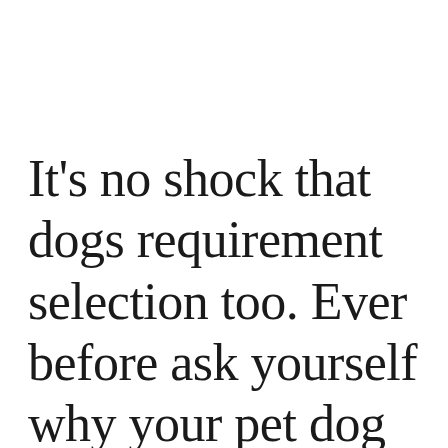It's no shock that dogs requirement selection too. Ever before ask yourself why your pet dog has a food allergy? Skin